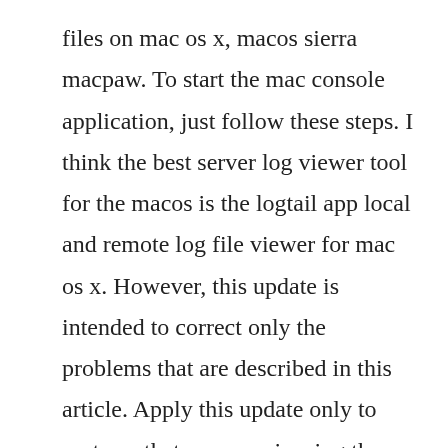files on mac os x, macos sierra macpaw. To start the mac console application, just follow these steps. I think the best server log viewer tool for the macos is the logtail app local and remote log file viewer for mac os x. However, this update is intended to correct only the problems that are described in this article. Apply this update only to systems that are experiencing the problems described in this article. Darts remote tools allows you to remote control a winpe session, traditionally the user would supply a tech with the ip, port,